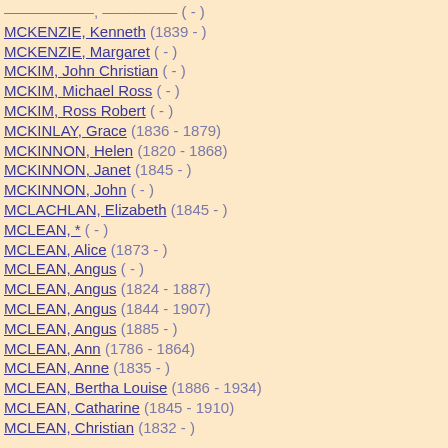MCKENZIE, Kenneth (1839 - )
MCKENZIE, Margaret ( - )
MCKIM, John Christian ( - )
MCKIM, Michael Ross ( - )
MCKIM, Ross Robert ( - )
MCKINLAY, Grace (1836 - 1879)
MCKINNON, Helen (1820 - 1868)
MCKINNON, Janet (1845 - )
MCKINNON, John ( - )
MCLACHLAN, Elizabeth (1845 - )
MCLEAN, * ( - )
MCLEAN, Alice (1873 - )
MCLEAN, Angus ( - )
MCLEAN, Angus (1824 - 1887)
MCLEAN, Angus (1844 - 1907)
MCLEAN, Angus (1885 - )
MCLEAN, Ann (1786 - 1864)
MCLEAN, Anne (1835 - )
MCLEAN, Bertha Louise (1886 - 1934)
MCLEAN, Catharine (1845 - 1910)
MCLEAN, Christian (1832 - )